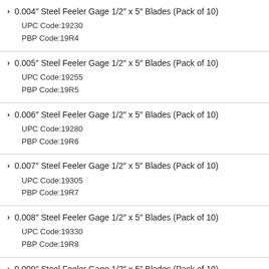0.004" Steel Feeler Gage 1/2" x 5" Blades (Pack of 10)
UPC Code:19230
PBP Code:19R4
0.005" Steel Feeler Gage 1/2" x 5" Blades (Pack of 10)
UPC Code:19255
PBP Code:19R5
0.006" Steel Feeler Gage 1/2" x 5" Blades (Pack of 10)
UPC Code:19280
PBP Code:19R6
0.007" Steel Feeler Gage 1/2" x 5" Blades (Pack of 10)
UPC Code:19305
PBP Code:19R7
0.008" Steel Feeler Gage 1/2" x 5" Blades (Pack of 10)
UPC Code:19330
PBP Code:19R8
0.009" Steel Feeler Gage 1/2" x 5" Blades (Pack of 10)